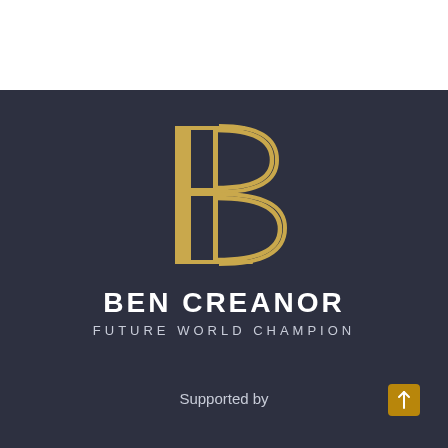[Figure (logo): Stylized double-B monogram logo in gold/tan color on dark background]
BEN CREANOR
FUTURE WORLD CHAMPION
Supported by